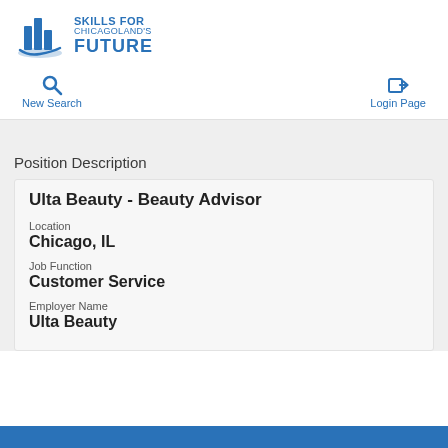[Figure (logo): Skills for Chicagoland's Future logo with blue building/bars graphic and text]
New Search   Login Page
Position Description
Ulta Beauty - Beauty Advisor
Location
Chicago, IL
Job Function
Customer Service
Employer Name
Ulta Beauty